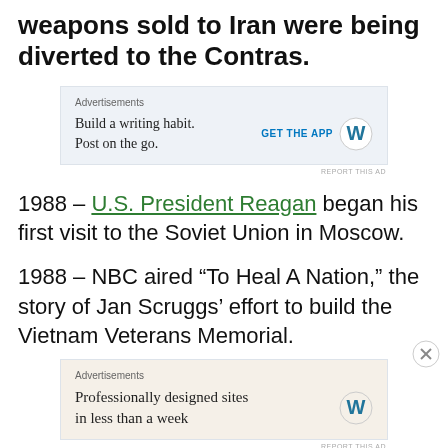weapons sold to Iran were being diverted to the Contras.
[Figure (other): Advertisement: WordPress app. 'Build a writing habit. Post on the go.' with GET THE APP button and WordPress logo.]
1988 – U.S. President Reagan began his first visit to the Soviet Union in Moscow.
1988 – NBC aired “To Heal A Nation,” the story of Jan Scruggs’ effort to build the Vietnam Veterans Memorial.
[Figure (other): Advertisement: WordPress. 'Professionally designed sites in less than a week' with WordPress logo.]